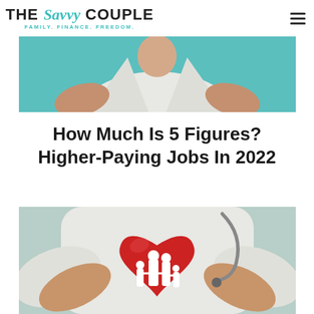THE Savvy COUPLE — FAMILY. FINANCE. FREEDOM.
[Figure (photo): Partial photo of a person in a white doctor coat, teal/turquoise background, cropped to show torso area]
How Much Is 5 Figures? Higher-Paying Jobs In 2022
[Figure (photo): Doctor in white coat with stethoscope holding a red heart shape with white family silhouettes (two adults and two children) cutout on it]